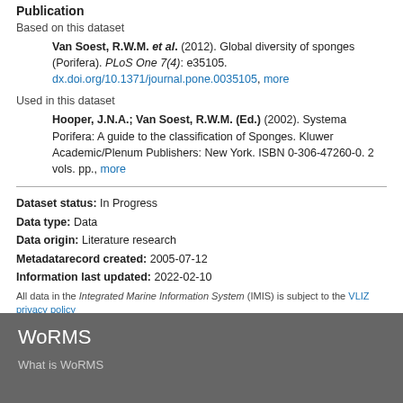Publication
Based on this dataset
Van Soest, R.W.M. et al. (2012). Global diversity of sponges (Porifera). PLoS One 7(4): e35105. dx.doi.org/10.1371/journal.pone.0035105, more
Used in this dataset
Hooper, J.N.A.; Van Soest, R.W.M. (Ed.) (2002). Systema Porifera: A guide to the classification of Sponges. Kluwer Academic/Plenum Publishers: New York. ISBN 0-306-47260-0. 2 vols. pp., more
Dataset status: In Progress
Data type: Data
Data origin: Literature research
Metadatarecord created: 2005-07-12
Information last updated: 2022-02-10
All data in the Integrated Marine Information System (IMIS) is subject to the VLIZ privacy policy
[Back]
WoRMS
What is WoRMS